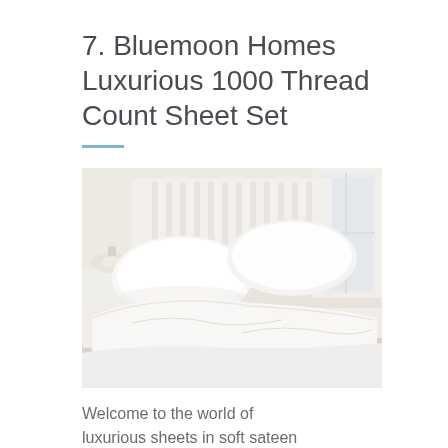7. Bluemoon Homes Luxurious 1000 Thread Count Sheet Set
[Figure (photo): A bed with white pillows and white sateen sheets, featuring a white wooden headboard, with a nightstand and window visible in the background.]
Welcome to the world of luxurious sheets in soft sateen